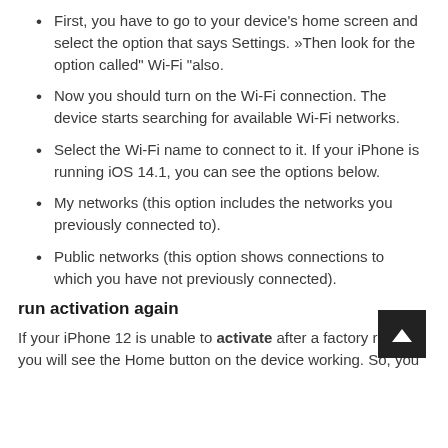First, you have to go to your device's home screen and select the option that says Settings. »Then look for the option called" Wi-Fi "also.
Now you should turn on the Wi-Fi connection. The device starts searching for available Wi-Fi networks.
Select the Wi-Fi name to connect to it. If your iPhone is running iOS 14.1, you can see the options below.
My networks (this option includes the networks you previously connected to).
Public networks (this option shows connections to which you have not previously connected).
run activation again
If your iPhone 12 is unable to activate after a factory reset, you will see the Home button on the device working. So, you